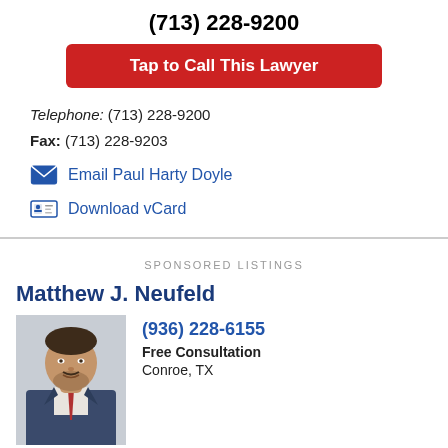(713) 228-9200
Tap to Call This Lawyer
Telephone: (713) 228-9200
Fax: (713) 228-9203
Email Paul Harty Doyle
Download vCard
SPONSORED LISTINGS
Matthew J. Neufeld
[Figure (photo): Headshot of Matthew J. Neufeld, a man in a suit with a beard]
(936) 228-6155
Free Consultation
Conroe, TX